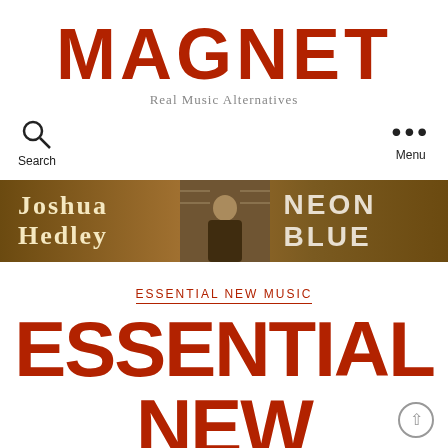MAGNET
Real Music Alternatives
[Figure (infographic): Search icon (magnifying glass) with label 'Search' and three-dot menu icon with label 'Menu']
[Figure (infographic): Advertisement banner: Joshua Hedley Neon Blue album ad on brown background with artist photo in center]
ESSENTIAL NEW MUSIC
ESSENTIAL NEW MUSIC: THE